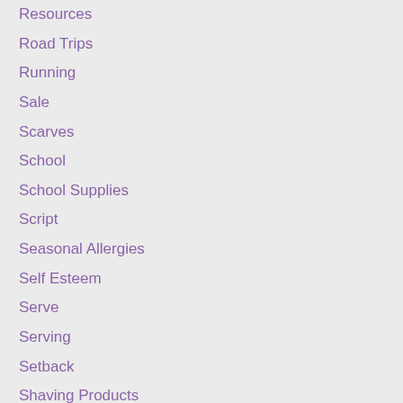Resources
Road Trips
Running
Sale
Scarves
School
School Supplies
Script
Seasonal Allergies
Self Esteem
Serve
Serving
Setback
Shaving Products
Shoes
Shopping
Silver Creek
Sinus
Sleep